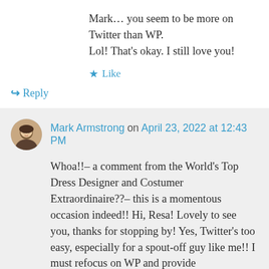Mark… you seem to be more on Twitter than WP.
Lol! That's okay. I still love you!
★ Like
↪ Reply
Mark Armstrong on April 23, 2022 at 12:43 PM
Whoa!!– a comment from the World's Top Dress Designer and Costumer Extraordinaire??– this is a momentous occasion indeed!! Hi, Resa! Lovely to see you, thanks for stopping by! Yes, Twitter's too easy, especially for a spout-off guy like me!! I must refocus on WP and provide